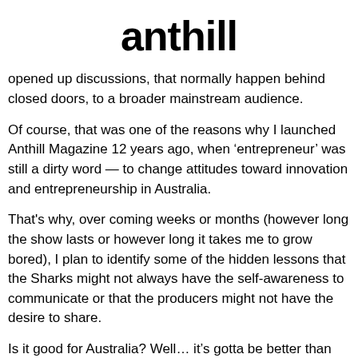anthill
opened up discussions, that normally happen behind closed doors, to a broader mainstream audience.
Of course, that was one of the reasons why I launched Anthill Magazine 12 years ago, when ‘entrepreneur’ was still a dirty word — to change attitudes toward innovation and entrepreneurship in Australia.
That's why, over coming weeks or months (however long the show lasts or however long it takes me to grow bored), I plan to identify some of the hidden lessons that the Sharks might not always have the self-awareness to communicate or that the producers might not have the desire to share.
Is it good for Australia? Well… it’s gotta be better than I’m a Celebrity, Get me out of here!